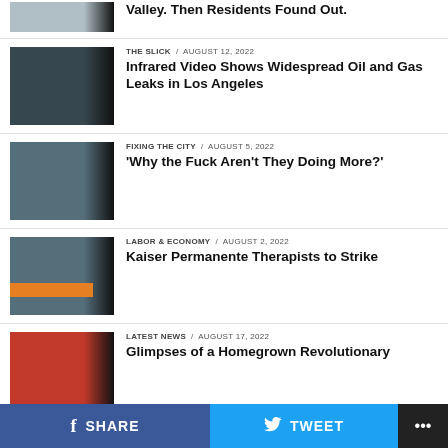Valley. Then Residents Found Out.
THE SLICK / August 12, 2022 — Infrared Video Shows Widespread Oil and Gas Leaks in Los Angeles
FIXING THE CITY / August 5, 2022 — 'Why the Fuck Aren't They Doing More?'
LABOR & ECONOMY / August 2, 2022 — Kaiser Permanente Therapists to Strike
LATEST NEWS / August 17, 2022 — Glimpses of a Homegrown Revolutionary
SHARE   TWEET   ...